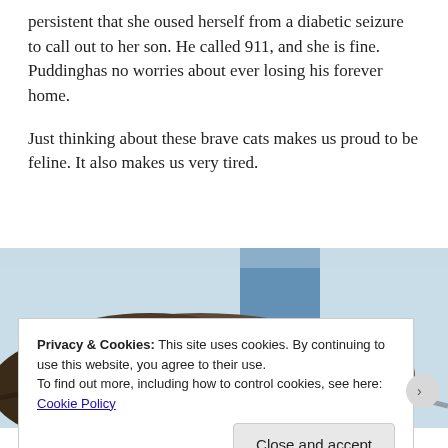persistent that she oused herself from a diabetic seizure to call out to her son. He called 911, and she is fine. Puddinghas no worries about ever losing his forever home.

Just thinking about these brave cats makes us proud to be feline. It also makes us very tired.
[Figure (photo): Photo of a tabby cat resting near a window, viewed from above/behind, with blue sky visible in the background.]
Privacy & Cookies: This site uses cookies. By continuing to use this website, you agree to their use.
To find out more, including how to control cookies, see here:
Cookie Policy

Close and accept